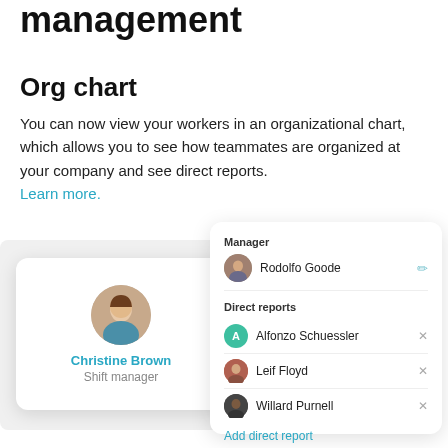management
Org chart
You can now view your workers in an organizational chart, which allows you to see how teammates are organized at your company and see direct reports. Learn more.
[Figure (screenshot): UI screenshot showing an org chart interface. On the left is a worker card for Christine Brown (Shift manager) with a circular photo. On the right is a panel showing Manager: Rodolfo Goode, and Direct reports: Alfonzo Schuessler, Leif Floyd, Willard Purnell, with an 'Add direct report' link.]